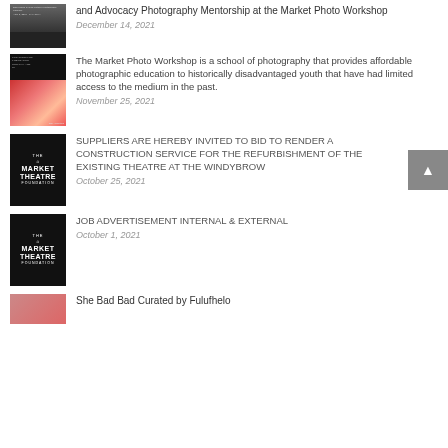[Figure (photo): Thumbnail image for photography article]
and Advocacy Photography Mentorship at the Market Photo Workshop
December 14, 2021
[Figure (photo): Thumbnail image for Market Photo Workshop article showing a child in colorful clothing]
The Market Photo Workshop is a school of photography that provides affordable photographic education to historically disadvantaged youth that have had limited access to the medium in the past.
November 25, 2021
[Figure (logo): The Market Theatre Foundation logo on black background]
SUPPLIERS ARE HEREBY INVITED TO BID TO RENDER A CONSTRUCTION SERVICE FOR THE REFURBISHMENT OF THE EXISTING THEATRE AT THE WINDYBROW
October 25, 2021
[Figure (logo): The Market Theatre Foundation logo on black background]
JOB ADVERTISEMENT INTERNAL & EXTERNAL
October 1, 2021
[Figure (photo): Thumbnail image for She Bad Bad article with pink/red tones]
She Bad Bad Curated by Fulufhelo